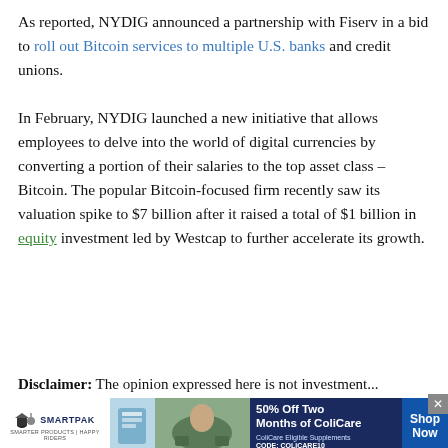As reported, NYDIG announced a partnership with Fiserv in a bid to roll out Bitcoin services to multiple U.S. banks and credit unions.
In February, NYDIG launched a new initiative that allows employees to delve into the world of digital currencies by converting a portion of their salaries to the top asset class – Bitcoin. The popular Bitcoin-focused firm recently saw its valuation spike to $7 billion after it raised a total of $1 billion in equity investment led by Westcap to further accelerate its growth.
Disclaimer: The opinion expressed here is not investment...
[Figure (infographic): SmartPak advertisement banner: 50% Off Two Months of ColiCare. ColiCare Eligible Supplements. CODE: COLICARE10. Shop Now button.]